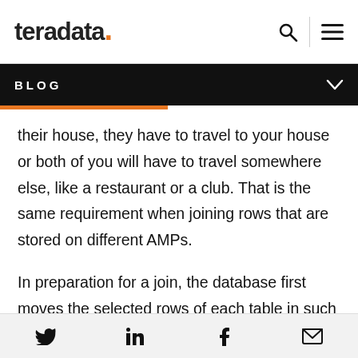teradata. [search] [menu]
BLOG
their house, they have to travel to your house or both of you will have to travel somewhere else, like a restaurant or a club. That is the same requirement when joining rows that are stored on different AMPs.
In preparation for a join, the database first moves the selected rows of each table in such a way that to-be-joined rows on both sides of the join end up
[twitter] [linkedin] [facebook] [email]